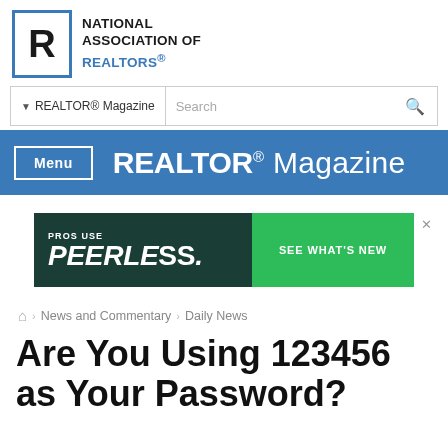[Figure (logo): National Association of REALTORS logo with blue R in box and organization name]
[Figure (screenshot): Search bar with REALTOR® Magazine dropdown and Search input field]
[Figure (screenshot): Blue navigation bar with Menu button and REALTOR Magazine title]
[Figure (screenshot): Advertisement banner: PROS USE PEERLESS. SEE WHAT'S NEW]
🏠 › News and Commentary › Daily News
Are You Using 123456 as Your Password?